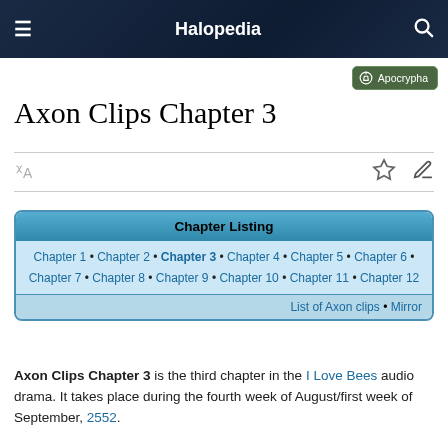Halopedia
Axon Clips Chapter 3
| Chapter Listing |
| Chapter 1 • Chapter 2 • Chapter 3 • Chapter 4 • Chapter 5 • Chapter 6 • Chapter 7 • Chapter 8 • Chapter 9 • Chapter 10 • Chapter 11 • Chapter 12 |
| List of Axon clips • Mirror |
Axon Clips Chapter 3 is the third chapter in the I Love Bees audio drama. It takes place during the fourth week of August/first week of September, 2552.